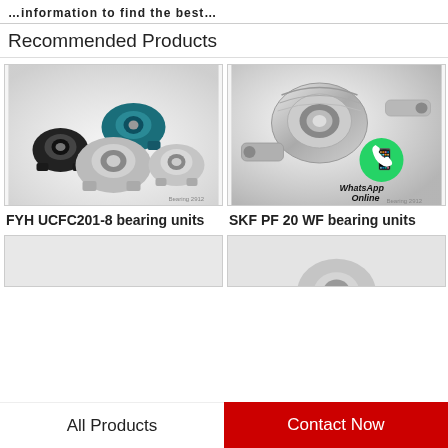…information to find the best…
Recommended Products
[Figure (photo): FYH UCFC201-8 bearing units — multiple pillow block bearings in black, teal/blue, and silver metallic colors arranged together]
FYH UCFC201-8 bearing units
[Figure (photo): SKF PF 20 WF bearing units — a single metallic strap-style bearing unit with a WhatsApp Online logo overlay]
SKF PF 20 WF bearing units
[Figure (photo): Partial view of a bearing unit product (bottom row, left)]
[Figure (photo): Partial view of a bearing unit product (bottom row, right)]
All Products
Contact Now